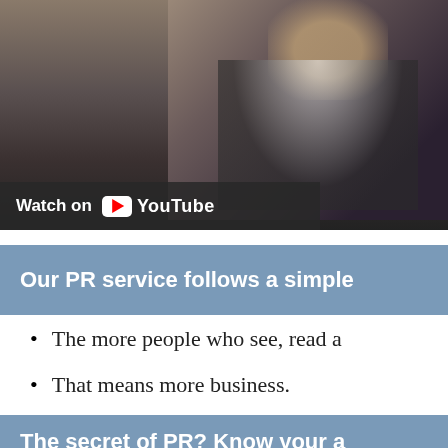[Figure (screenshot): Screenshot of a YouTube video thumbnail showing a person in a dark suit, with the 'Watch on YouTube' overlay at the bottom left.]
Our PR service follows a simple
The more people who see, read a
That means more business.
Your turnover goes up and your
It's why we say: Profit starts wit
The secret of PR? Know your a